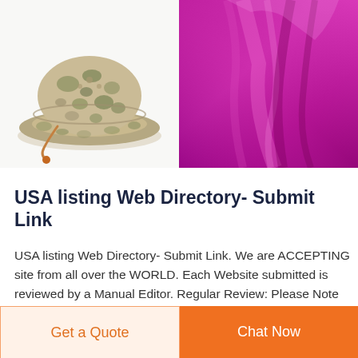[Figure (photo): Camouflage boonie hat with wide brim and chin cord, shown on white background]
[Figure (photo): Shiny magenta/purple fabric folded, showing texture]
USA listing Web Directory- Submit Link
USA listing Web Directory- Submit Link. We are ACCEPTING site from all over the WORLD. Each Website submitted is reviewed by a Manual Editor. Regular Review: Please Note :It takes around 2-3 month for a review for Regular submission. Reciprocal Review: It Takes around 2-
Get a Quote
Chat Now